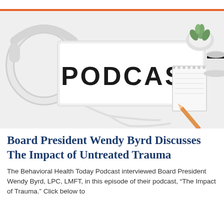[Figure (photo): Photo of a lightbox sign spelling 'PODCAST' on a white desk, with white headphones, a small succulent plant, a spiral notebook, a pencil, and a cup of coffee]
Board President Wendy Byrd Discusses The Impact of Untreated Trauma
The Behavioral Health Today Podcast interviewed Board President Wendy Byrd, LPC, LMFT, in this episode of their podcast, "The Impact of Trauma." Click below to